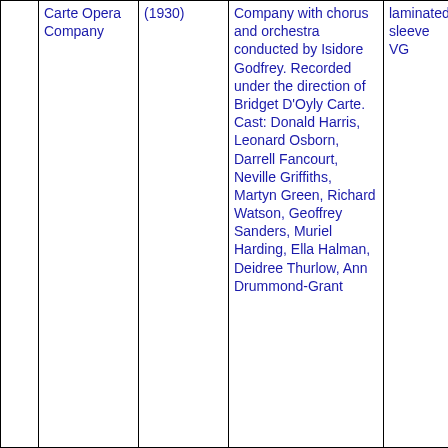|  | Carte Opera Company | (1930) | Company with chorus and orchestra conducted by Isidore Godfrey. Recorded under the direction of Bridget D'Oyly Carte. Cast: Donald Harris, Leonard Osborn, Darrell Fancourt, Neville Griffiths, Martyn Green, Richard Watson, Geoffrey Sanders, Muriel Harding, Ella Halman, Deidree Thurlow, Ann Drummond-Grant | laminated sleeve VG |
|  |  |  |  |  |